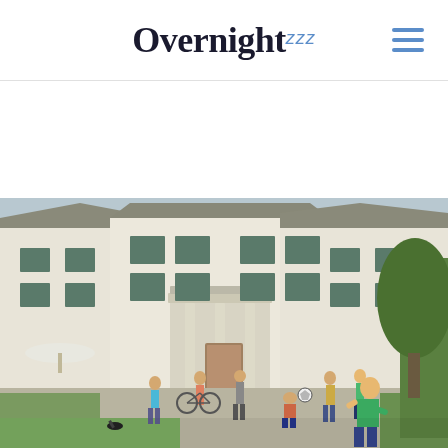Overnight zzz
[Figure (photo): Outdoor photograph of a large white two-story European-style building with teal/green shutters and a classical portico entrance. Several people, including children, are in the foreground on a gravel courtyard and grass lawn. A child in a green shirt runs in the right foreground. Trees are visible on the right side. A bicycle is parked near the left side.]